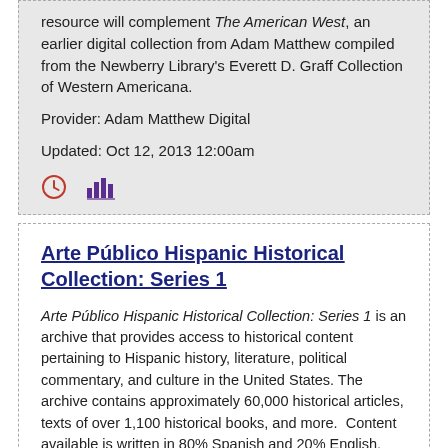resource will complement The American West, an earlier digital collection from Adam Matthew compiled from the Newberry Library's Everett D. Graff Collection of Western Americana.
Provider: Adam Matthew Digital
Updated: Oct 12, 2013 12:00am
[Figure (other): Clock icon and bar chart icon (small UI icons)]
Arte Público Hispanic Historical Collection: Series 1
Arte Público Hispanic Historical Collection: Series 1 is an archive that provides access to historical content pertaining to Hispanic history, literature, political commentary, and culture in the United States. The archive contains approximately 60,000 historical articles, texts of over 1,100 historical books, and more.  Content available is written in 80% Spanish and 20% English.
Provider: EBSCO Information Services
Updated: Aug 1, 2020 12:05am